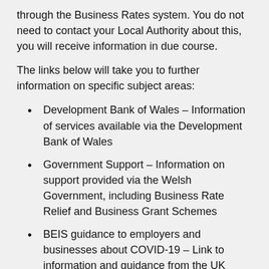through the Business Rates system. You do not need to contact your Local Authority about this, you will receive information in due course.
The links below will take you to further information on specific subject areas:
Development Bank of Wales – Information of services available via the Development Bank of Wales
Government Support – Information on support provided via the Welsh Government, including Business Rate Relief and Business Grant Schemes
BEIS guidance to employers and businesses about COVID-19 – Link to information and guidance from the UK Government on areas such as Statutory Sick Pay, Advice for employees which have travelled to high risk areas and home working
To delay the spread of coronavirus, the government has